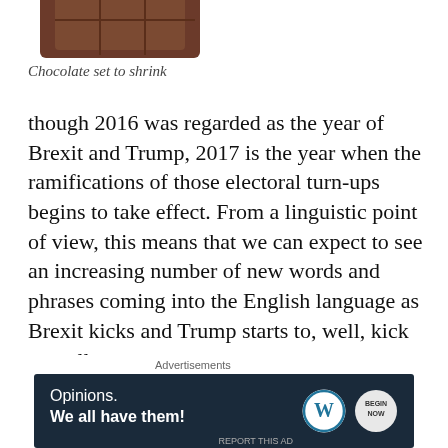[Figure (photo): Partial image of a chocolate block, cropped at top of page]
Chocolate set to shrink
though 2016 was regarded as the year of Brexit and Trump, 2017 is the year when the ramifications of those electoral turn-ups begins to take effect. From a linguistic point of view, this means that we can expect to see an increasing number of new words and phrases coming into the English language as Brexit kicks and Trump starts to, well, kick as well.
Advertisements
[Figure (other): WordPress advertisement banner: 'Opinions. We all have them!' with WordPress and Begin Now logos on dark navy background]